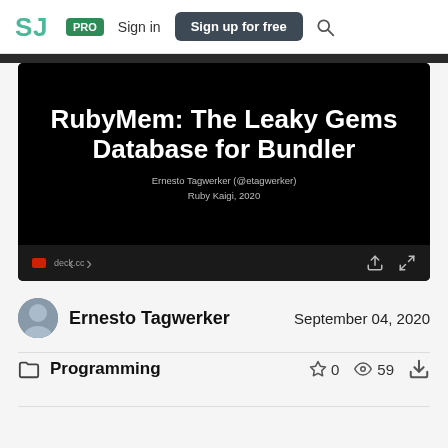SJ | PRO | Sign in | Sign up for free
[Figure (screenshot): Slide preview showing title 'RubyMem: The Leaky Gems Database for Bundler' by Ernesto Tagwerker (@etagwerker), Ruby Kaigi, 2020]
Ernesto Tagwerker
September 04, 2020
Programming
0  59